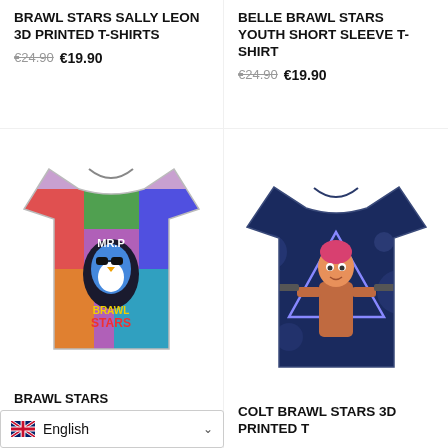BRAWL STARS SALLY LEON 3D PRINTED T-SHIRTS
€24.90 €19.90
BELLE BRAWL STARS YOUTH SHORT SLEEVE T-SHIRT
€24.90 €19.90
[Figure (photo): Brawl Stars all-over-print t-shirt featuring MR.P character and Brawl Stars characters collage]
[Figure (photo): Dark navy blue t-shirt with Colt from Brawl Stars 3D printed design]
BRAWL STARS
COLT BRAWL STARS 3D PRINTED T